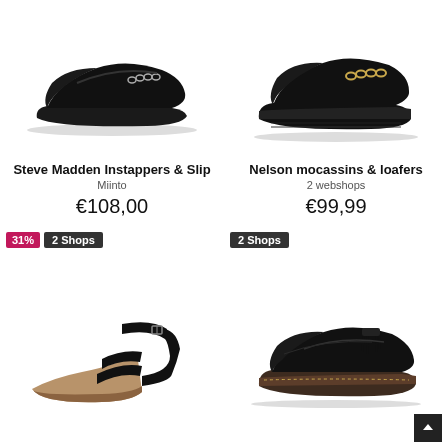[Figure (photo): Black leather loafer with silver chain detail - Steve Madden]
Steve Madden Instappers & Slip
Miinto
€108,00
[Figure (photo): Black leather chunky loafer with gold chain detail - Nelson]
Nelson mocassins & loafers
2 webshops
€99,99
[Figure (photo): Black leather strappy wedge sandal with cork heel]
[Figure (photo): Black leather tassel loafer with chunky sole - Dr Martens style]